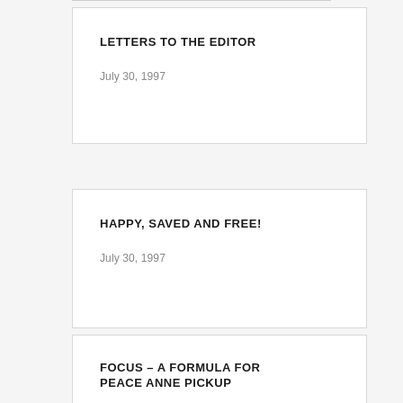LETTERS TO THE EDITOR
July 30, 1997
HAPPY, SAVED AND FREE!
July 30, 1997
FOCUS – A FORMULA FOR PEACE ANNE PICKUP